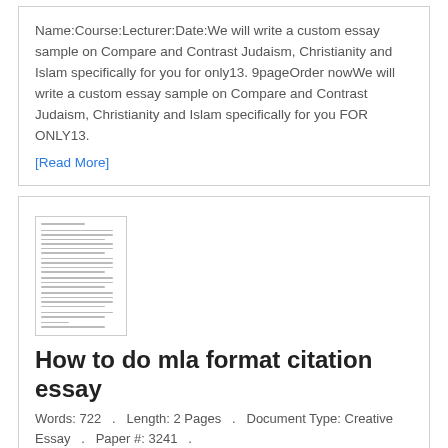Name:Course:Lecturer:Date:We will write a custom essay sample on Compare and Contrast Judaism, Christianity and Islam specifically for you for only13. 9pageOrder nowWe will write a custom essay sample on Compare and Contrast Judaism, Christianity and Islam specifically for you FOR ONLY13.
[Read More]
[Figure (illustration): Thumbnail image of a document/essay page with lines of text]
How to do mla format citation essay
Words: 722   .   Length: 2 Pages   .   Document Type: Creative Essay   .   Paper #: 3241   .
1) If you8217;ve been asked to submit a paper in MLA style, your instructor is asking you to format the page and present the content in a specific way.